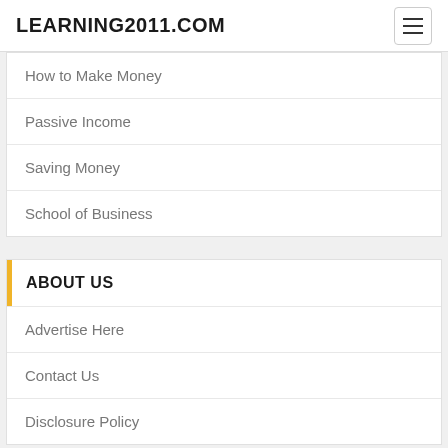LEARNING2011.COM
How to Make Money
Passive Income
Saving Money
School of Business
ABOUT US
Advertise Here
Contact Us
Disclosure Policy